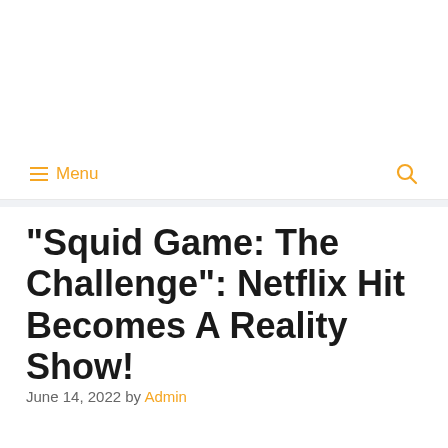≡ Menu
"Squid Game: The Challenge": Netflix Hit Becomes A Reality Show!
June 14, 2022 by Admin